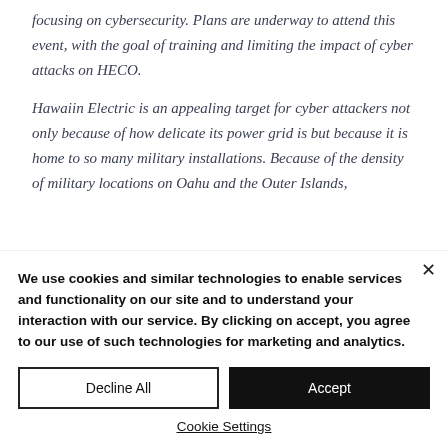focusing on cybersecurity. Plans are underway to attend this event, with the goal of training and limiting the impact of cyber attacks on HECO.
Hawaiin Electric is an appealing target for cyber attackers not only because of how delicate its power grid is but because it is home to so many military installations. Because of the density of military locations on Oahu and the Outer Islands,
We use cookies and similar technologies to enable services and functionality on our site and to understand your interaction with our service. By clicking on accept, you agree to our use of such technologies for marketing and analytics.
Decline All
Accept
Cookie Settings